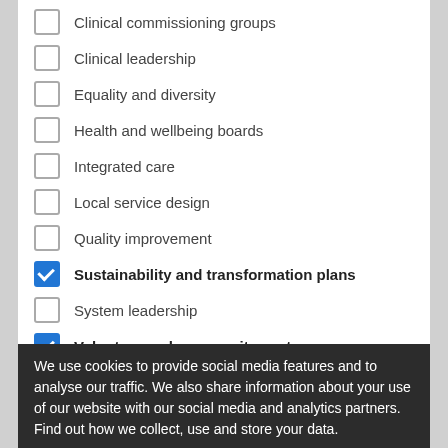Clinical commissioning groups
Clinical leadership
Equality and diversity
Health and wellbeing boards
Integrated care
Local service design
Quality improvement
Sustainability and transformation plans [checked]
System leadership
Voluntary and community sector [checked]
Workforce and skills
Patients, people and society
Carers
Children and young people
We use cookies to provide social media features and to analyse our traffic. We also share information about your use of our website with our social media and analytics partners. Find out how we collect, use and store your data.